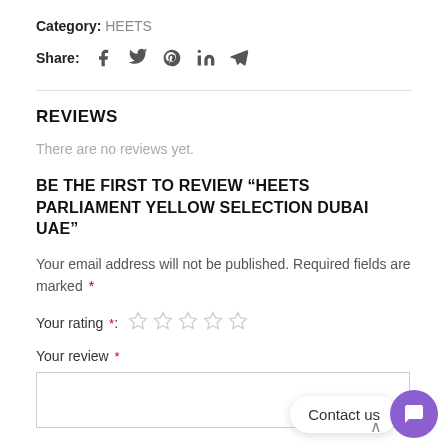Category: HEETS
Share: [social icons: facebook, twitter, pinterest, linkedin, telegram]
REVIEWS
There are no reviews yet.
BE THE FIRST TO REVIEW “HEETS PARLIAMENT YELLOW SELECTION DUBAI UAE”
Your email address will not be published. Required fields are marked *
Your rating *: [5 empty stars]
Your review *
Contact us